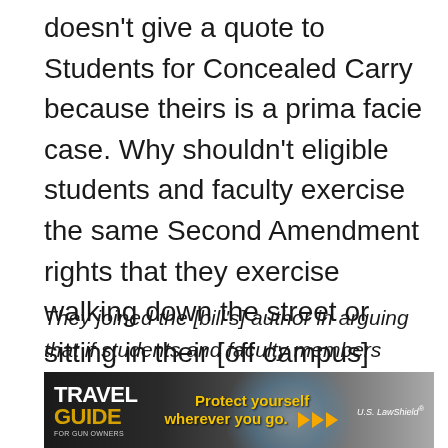doesn't give a quote to Students for Concealed Carry because theirs is a prima facie case. Why shouldn't eligible students and faculty exercise the same Second Amendment rights that they exercise walking down the street or sitting in their [off campus] homes?
They joined the [bill's] author in arguing that if students and faculty members were armed on the campuses where innocent students were gunned down, the attackers would not have had so many victims. They also say it would be a deterrent for anyone to come on campus to shoot students if other
[Figure (infographic): Travel Guide for Gun Owners advertisement banner. Dark background with text 'TRAVEL GUIDE' in white and gold, 'FOR GUN OWNERS' subtitle, center text 'Protect yourself wherever you go.' with orange arrows, and 'U.S. LawShield' branding on right.]